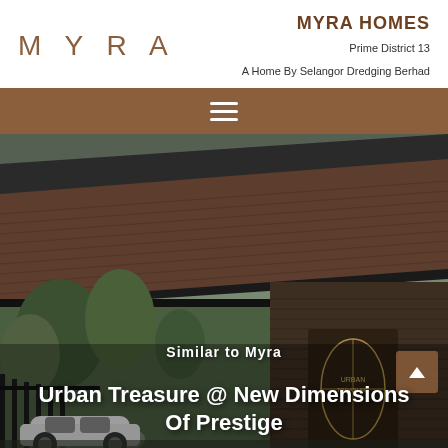[Figure (logo): MYRA logo in brown spaced lettering on white background]
MYRA HOMES
Prime District 13
A Home By Selangor Dredging Berhad
[Figure (photo): Architectural render of a modern residential property with dark textured panels, slanted roof, lush greenery, and a white car in the foreground. A decorative golden leaf panel is visible.]
Similar to Myra
Urban Treasure @ New Dimensions Of Prestige